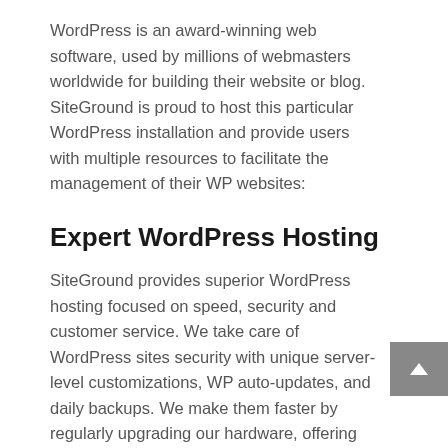WordPress is an award-winning web software, used by millions of webmasters worldwide for building their website or blog. SiteGround is proud to host this particular WordPress installation and provide users with multiple resources to facilitate the management of their WP websites:
Expert WordPress Hosting
SiteGround provides superior WordPress hosting focused on speed, security and customer service. We take care of WordPress sites security with unique server-level customizations, WP auto-updates, and daily backups. We make them faster by regularly upgrading our hardware, offering free CDN with Railgun and developing our SuperCacher that speeds sites up to 100 times! And last but not least